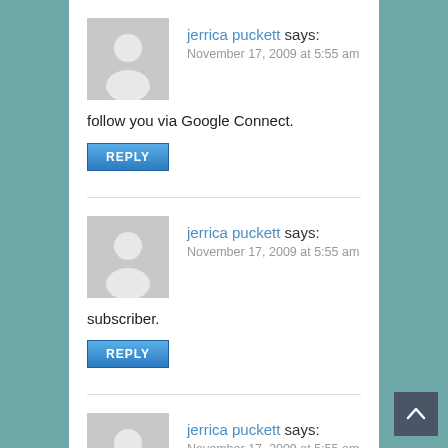jerrica puckett says: November 17, 2009 at 5:55 am
follow you via Google Connect.
REPLY
jerrica puckett says: November 17, 2009 at 5:55 am
subscriber.
REPLY
jerrica puckett says: November 17, 2009 at 5:55 am